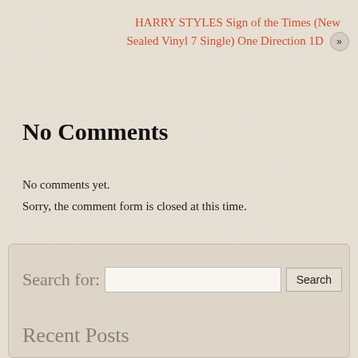HARRY STYLES Sign of the Times (New Sealed Vinyl 7 Single) One Direction 1D »
No Comments
No comments yet.
Sorry, the comment form is closed at this time.
Search for: [input] Search
Recent Posts